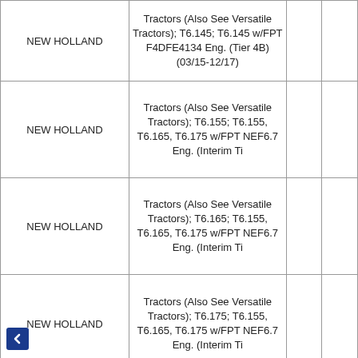| Brand | Description |  |  |
| --- | --- | --- | --- |
| NEW HOLLAND | Tractors (Also See Versatile Tractors); T6.145; T6.145 w/FPT F4DFE4134 Eng. (Tier 4B) (03/15-12/17) |  |  |
| NEW HOLLAND | Tractors (Also See Versatile Tractors); T6.155; T6.155, T6.165, T6.175 w/FPT NEF6.7 Eng. (Interim Ti |  |  |
| NEW HOLLAND | Tractors (Also See Versatile Tractors); T6.165; T6.155, T6.165, T6.175 w/FPT NEF6.7 Eng. (Interim Ti |  |  |
| NEW HOLLAND | Tractors (Also See Versatile Tractors); T6.175; T6.155, T6.165, T6.175 w/FPT NEF6.7 Eng. (Interim Ti |  |  |
| NEW HOLLAND | Tractors (Also See Versatile Tractors); T6.175; T6.175 w/4 Cyl. 4.5L Eng. |  |  |